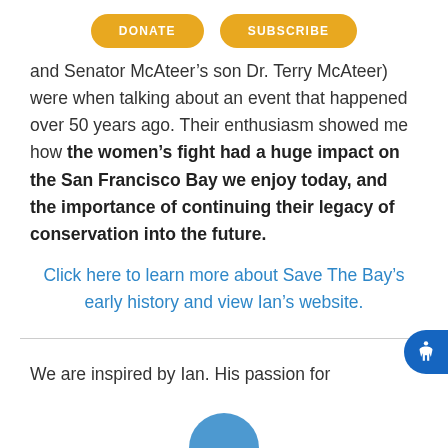[Figure (other): Two yellow pill-shaped buttons labeled DONATE and SUBSCRIBE]
and Senator McAteer’s son Dr. Terry McAteer) were when talking about an event that happened over 50 years ago. Their enthusiasm showed me how the women’s fight had a huge impact on the San Francisco Bay we enjoy today, and the importance of continuing their legacy of conservation into the future.
Click here to learn more about Save The Bay’s early history and view Ian’s website.
We are inspired by Ian. His passion for